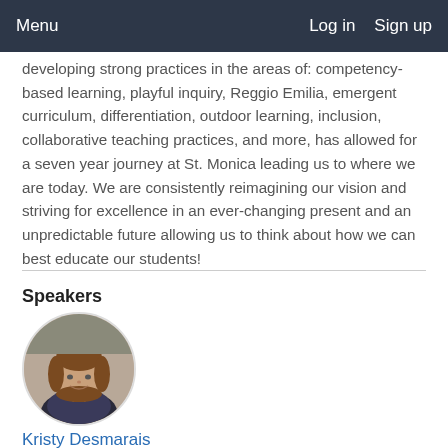Menu   Log in   Sign up
developing strong practices in the areas of: competency-based learning, playful inquiry, Reggio Emilia, emergent curriculum, differentiation, outdoor learning, inclusion, collaborative teaching practices, and more, has allowed for a seven year journey at St. Monica leading us to where we are today. We are consistently reimagining our vision and striving for excellence in an ever-changing present and an unpredictable future allowing us to think about how we can best educate our students!
Speakers
[Figure (photo): Circular portrait photo of Kristy Desmarais, a woman with shoulder-length brown hair, smiling, wearing a patterned top.]
Kristy Desmarais